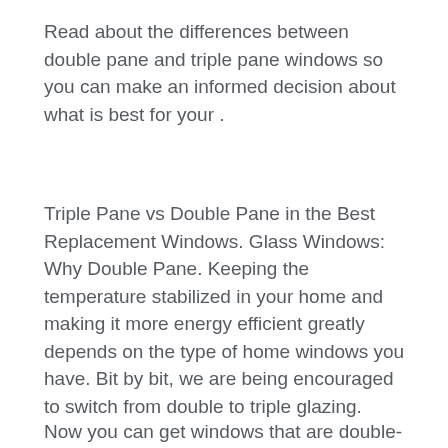Read about the differences between double pane and triple pane windows so you can make an informed decision about what is best for your .
Triple Pane vs Double Pane in the Best Replacement Windows. Glass Windows: Why Double Pane. Keeping the temperature stabilized in your home and making it more energy efficient greatly depends on the type of home windows you have. Bit by bit, we are being encouraged to switch from double to triple glazing.
Now you can get windows that are double- or triple-pane windows with argon or krypton gas